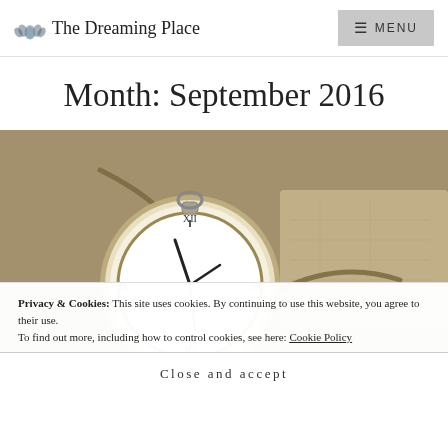The Dreaming Place — MENU
Month: September 2016
[Figure (photo): A vintage pocket watch resting on sandy ground with a chain and an old map partially visible, photographed in warm earthy tones.]
Privacy & Cookies: This site uses cookies. By continuing to use this website, you agree to their use.
To find out more, including how to control cookies, see here: Cookie Policy
Close and accept